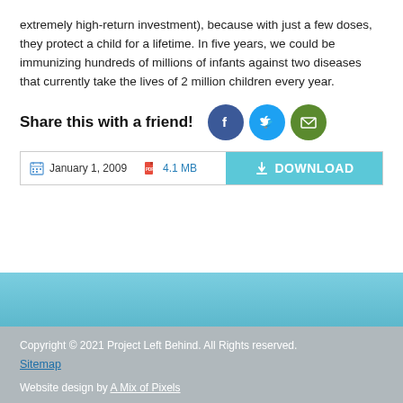extremely high-return investment), because with just a few doses, they protect a child for a lifetime. In five years, we could be immunizing hundreds of millions of infants against two diseases that currently take the lives of 2 million children every year.
Share this with a friend!
January 1, 2009   4.1 MB   DOWNLOAD
Copyright © 2021 Project Left Behind. All Rights reserved. Sitemap Website design by A Mix of Pixels